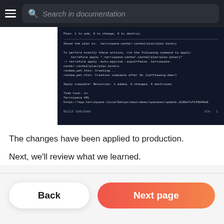Search in documentation
[Figure (screenshot): Terminal/CLI screenshot showing Terraform apply output: Plan: 1 to add, 0 to change, 0 to destroy. Saved the plan to: .terrospace-cache/.cache2/plan/plan.binary. To perform exactly these actions, run the following command to apply: terraform apply '.terrospace-cache/.cache2/plan/plan.binary' -> terraform apply -auto-approve -input=false .terrospace-cache/.cache2/plan/plan.binary. random_pet.this: Creating... random_pet.this: Creation complete after 0s [id=flowing-deer]. Apply complete! Resources: 1 added, 0 changed, 0 destroyed. Time took: 1s. Terrospace URL https://app.terrospace.cloud/Setups/main/demo/spaceses/update.d1S0efof1f3600e8. Build teardown label at bottom.]
The changes have been applied to production.
Next, we'll review what we learned.